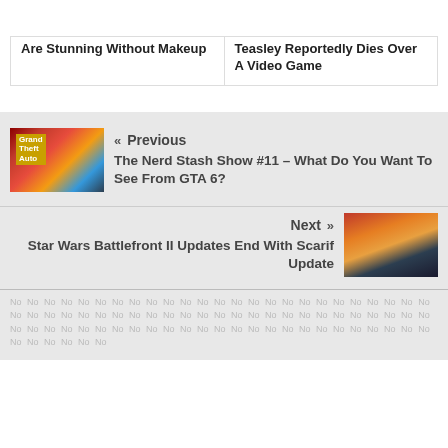Are Stunning Without Makeup
Teasley Reportedly Dies Over A Video Game
« Previous
The Nerd Stash Show #11 – What Do You Want To See From GTA 6?
Next »
Star Wars Battlefront II Updates End With Scarif Update